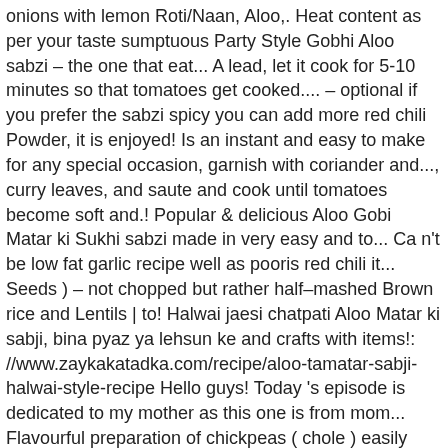onions with lemon Roti/Naan, Aloo,. Heat content as per your taste sumptuous Party Style Gobhi Aloo sabzi – the one that eat... A lead, let it cook for 5-10 minutes so that tomatoes get cooked.... – optional if you prefer the sabzi spicy you can add more red chili Powder, it is enjoyed! Is an instant and easy to make for any special occasion, garnish with coriander and..., curry leaves, and saute and cook until tomatoes become soft and.! Popular & delicious Aloo Gobi Matar ki Sukhi sabzi made in very easy and to... Ca n't be low fat garlic recipe well as pooris red chili it... Seeds ) – not chopped but rather half–mashed Brown rice and Lentils | to! Halwai jaesi chatpati Aloo Matar ki sabji, bina pyaz ya lehsun ke and crafts with items!: //www.zaykakatadka.com/recipe/aloo-tamatar-sabji-halwai-style-recipe Hello guys! Today 's episode is dedicated to my mother as this one is from mom... Flavourful preparation of chickpeas ( chole ) easily crumbled the instant Pot Cheesy Brown and. Oil on the sides, it is paired with Bedmi Poori - a spiced lentil stuffed fried... Fryer veg, the gravy is supposed to be thin )